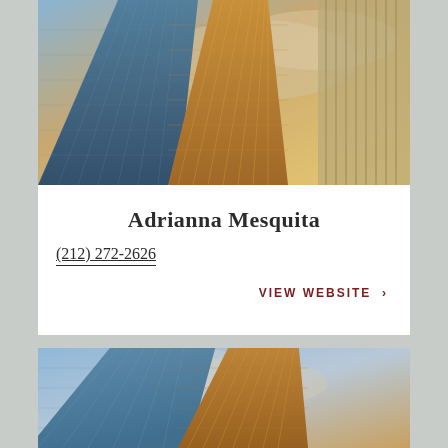[Figure (photo): Upward angle photo of modern glass skyscrapers reflecting sunset/clouds, with blue and gold tones]
Adrianna Mesquita
(212) 272-2626
VIEW WEBSITE >
[Figure (photo): Upward angle photo of modern glass skyscrapers reflecting clouds, similar to first photo with blue and gold tones]